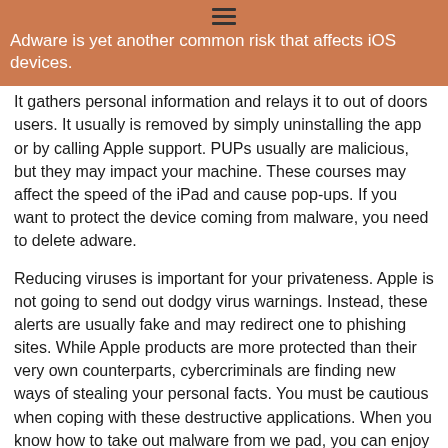Adware is yet another common risk that affects iOS devices.
It gathers personal information and relays it to out of doors users. It usually is removed by simply uninstalling the app or by calling Apple support. PUPs usually are malicious, but they may impact your machine. These courses may affect the speed of the iPad and cause pop-ups. If you want to protect the device coming from malware, you need to delete adware.
Reducing viruses is important for your privateness. Apple is not going to send out dodgy virus warnings. Instead, these alerts are usually fake and may redirect one to phishing sites. While Apple products are more protected than their very own counterparts, cybercriminals are finding new ways of stealing your personal facts. You must be cautious when coping with these destructive applications. When you know how to take out malware from we pad, you can enjoy the protection of your machine.